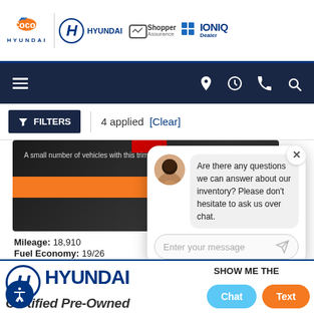Cocoa Hyundai | Hyundai | Shopper Assurance | IONIQ Dealer
[Figure (screenshot): Navigation bar with hamburger menu, location, clock, phone, and search icons on dark navy background]
FILTERS | 4 applied [Clear]
[Figure (photo): Vehicle listing card showing dark vehicle image with orange bar, text: A small number of vehicles with this trim are available within a 100-mile radius. Mileage: 18,910. Fuel Economy: 19/26. Interested: 4. Color swatches: dark red and gray.]
Mileage: 18,910
Fuel Economy: 19/26
Interested: 4
[Figure (screenshot): Chat popup with avatar, message: Are there any questions we can answer about our inventory? Please don't hesitate to ask us over chat. Input field: Enter your message.]
Hyundai HYUNDAI SHOW ME THE | Certified Pre-Owned | Chat | Text